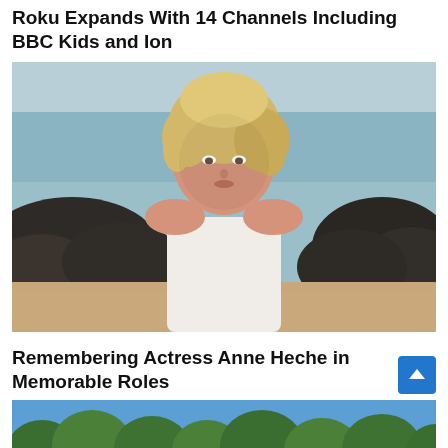Roku Expands With 14 Channels Including BBC Kids and Ion
[Figure (photo): Blonde woman in white tank top standing on a rocky beach with water in the background]
Remembering Actress Anne Heche in Memorable Roles
[Figure (photo): Trees with green foliage against a blue sky, bottom portion visible]